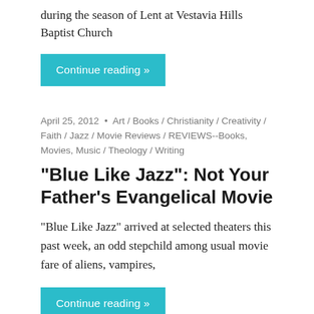during the season of Lent at Vestavia Hills Baptist Church
Continue reading »
April 25, 2012 • Art / Books / Christianity / Creativity / Faith / Jazz / Movie Reviews / REVIEWS--Books, Movies, Music / Theology / Writing
“Blue Like Jazz”: Not Your Father’s Evangelical Movie
“Blue Like Jazz” arrived at selected theaters this past week, an odd stepchild among usual movie fare of aliens, vampires,
Continue reading »